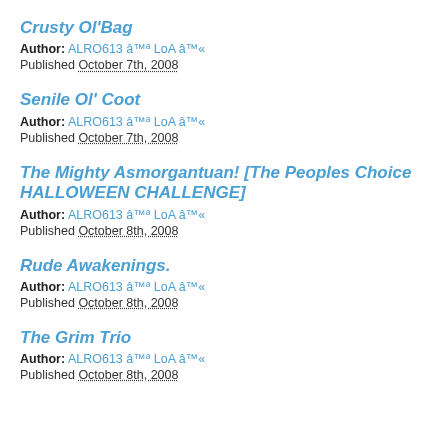Crusty Ol'Bag
Author: ALRO613 â™ª LoA â™«
Published October 7th, 2008
Senile Ol' Coot
Author: ALRO613 â™ª LoA â™«
Published October 7th, 2008
The Mighty Asmorgantuan! [The Peoples Choice HALLOWEEN CHALLENGE]
Author: ALRO613 â™ª LoA â™«
Published October 8th, 2008
Rude Awakenings.
Author: ALRO613 â™ª LoA â™«
Published October 8th, 2008
The Grim Trio
Author: ALRO613 â™ª LoA â™«
Published October 8th, 2008